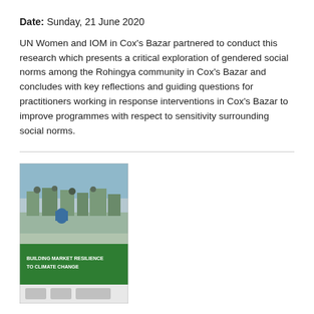Date: Sunday, 21 June 2020
UN Women and IOM in Cox's Bazar partnered to conduct this research which presents a critical exploration of gendered social norms among the Rohingya community in Cox's Bazar and concludes with key reflections and guiding questions for practitioners working in response interventions in Cox's Bazar to improve programmes with respect to sensitivity surrounding social norms.
[Figure (photo): Book cover of 'Building Market Resilience to Climate Change | Vanuatu' report. Upper half shows a photo of people at a market or waterfront area. Lower half has a green background with the report title text.]
Building Market Resilience to Climate Change | Vanuatu
Date: Thursday, 26 January 2017
This study set out to map, document and understand the relative vulnerability of municipal markets and their vendors, farmers and wider communities to climate change risks. The outcomes are practical measures and policy recommendations that can be implemented by UN Women and partners for Climate change adaptation.